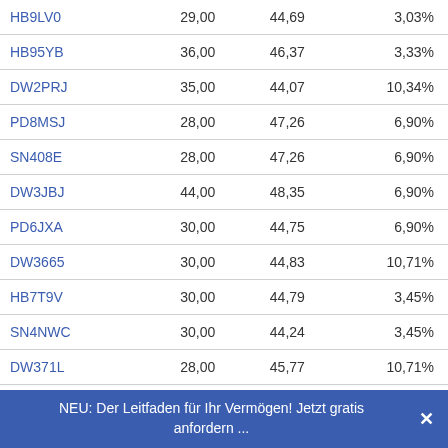| HB9LV0 | 29,00 | 44,69 | 3,03% |
| HB95YB | 36,00 | 46,37 | 3,33% |
| DW2PRJ | 35,00 | 44,07 | 10,34% |
| PD8MSJ | 28,00 | 47,26 | 6,90% |
| SN408E | 28,00 | 47,26 | 6,90% |
| DW3JBJ | 44,00 | 48,35 | 6,90% |
| PD6JXA | 30,00 | 44,75 | 6,90% |
| DW3665 | 30,00 | 44,83 | 10,71% |
| HB7T9V | 30,00 | 44,79 | 3,45% |
| SN4NWC | 30,00 | 44,24 | 3,45% |
| DW371L | 28,00 | 45,77 | 10,71% |
| GK9FTK | 40,00 | 43,80 | 18,52% |
| HB9LUZ | 28,00 | 46,30 | 3,45% |
| HB9LV2 | 32,00 | 42,69 | 7,14% |
NEU: Der Leitfaden für Ihr Vermögen! Jetzt gratis anfordern ...